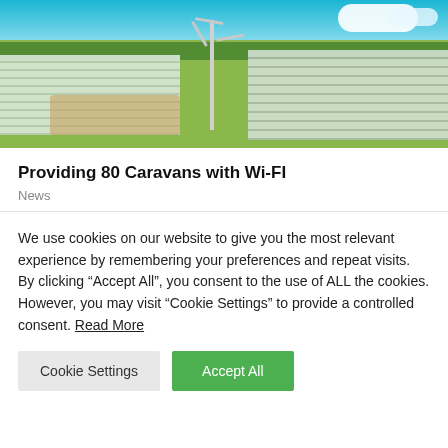[Figure (photo): Aerial view of large greenhouse farming complex with wind turbine, green fields, and blue sky with clouds]
Providing 80 Caravans with Wi-FI
News
We use cookies on our website to give you the most relevant experience by remembering your preferences and repeat visits. By clicking “Accept All”, you consent to the use of ALL the cookies. However, you may visit "Cookie Settings" to provide a controlled consent. Read More